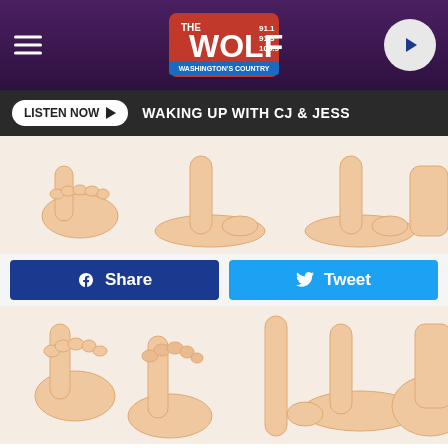[Figure (screenshot): The Wolf radio station header with logo showing frequencies 91.1, 91.3, 105.5, hamburger menu icon on left, play button on right]
[Figure (screenshot): Listen Now button with play arrow and text 'WAKING UP WITH CJ & JESS' on dark background]
[Figure (illustration): Illustration of various feet and ankles from different angles on a light peach background]
[Figure (screenshot): Facebook Share and Twitter Tweet buttons]
[Figure (illustration): More illustrations of feet and ankles from various angles on peach background]
Red Flag Signs of Multiple Sclerosis (MS) Many May Not Be Aware Of
Multiple Sclerosis | Search Ads
[Figure (photo): Warehouse interior filled with wooden furniture items including shelves, tables and boxes]